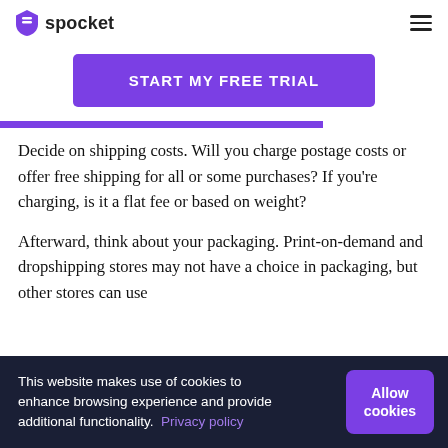spocket
START MY FREE TRIAL
Decide on shipping costs. Will you charge postage costs or offer free shipping for all or some purchases? If you're charging, is it a flat fee or based on weight?
Afterward, think about your packaging. Print-on-demand and dropshipping stores may not have a choice in packaging, but other stores can use
This website makes use of cookies to enhance browsing experience and provide additional functionality. Privacy policy